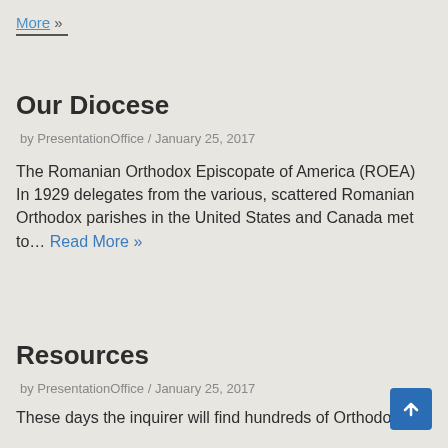More »
Our Diocese
by PresentationOffice / January 25, 2017
The Romanian Orthodox Episcopate of America (ROEA) In 1929 delegates from the various, scattered Romanian Orthodox parishes in the United States and Canada met to… Read More »
Resources
by PresentationOffice / January 25, 2017
These days the inquirer will find hundreds of Orthodox